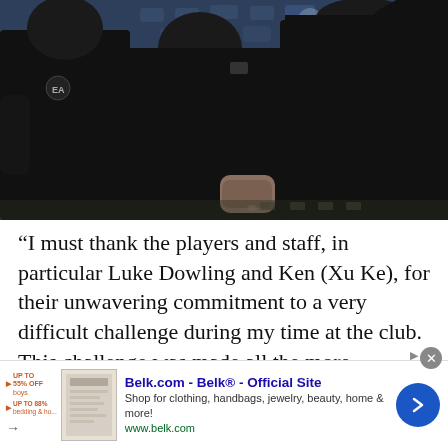[Figure (photo): Two people in black jackets standing on a football pitch sideline, stadium seats visible in background]
“I must thank the players and staff, in particular Luke Dowling and Ken (Xu Ke), for their unwavering commitment to a very difficult challenge during my time at the club. This challenge was made all the more difficult, of
[Figure (other): Belk.com advertisement banner: Belk® - Official Site. Shop for clothing, handbags, jewelry, beauty, home & more! www.belk.com]